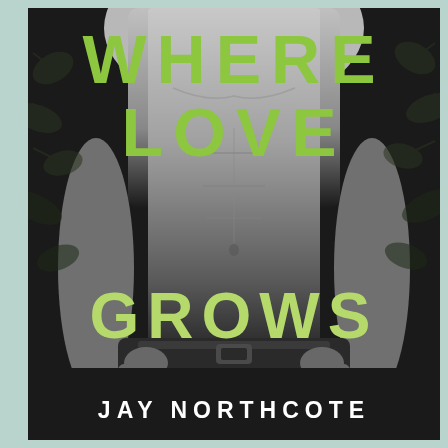[Figure (illustration): Book cover for 'Where Love Grows' by Jay Northcote. Black and white photograph of a shirtless male torso with muscular abdomen, wearing dark jeans with hands at sides. Dark background with leaf/foliage silhouettes on left and right sides. Pale mint/teal border visible on left side and bottom. Title text overlaid in bold bright green/yellow-green letters. Author name in white at bottom.]
WHERE LOVE GROWS
JAY NORTHCOTE